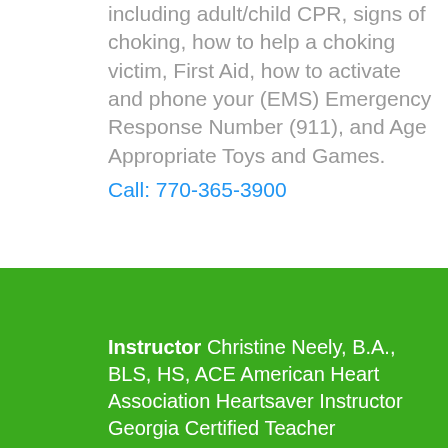including adult/child CPR, signs of choking, how to help a choking victim, First Aid, how to activate and phone your (EMS) Emergency Response Number (911), and Age Appropriate Toys and Games.
Call: 770-365-3900
Instructor Christine Neely, B.A., BLS, HS, ACE American Heart Association Heartsaver Instructor Georgia Certified Teacher